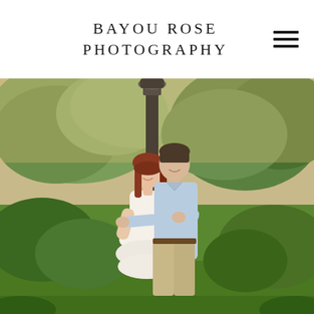BAYOU ROSE PHOTOGRAPHY
[Figure (photo): An engaged couple posing outdoors in a lush green park setting. A woman in a white lace dress and a man in a light blue shirt and khaki pants stand in front of a tall ornamental lamp post, surrounded by trees with Spanish moss and green foliage. The man stands behind the woman with his arms around her, both smiling.]